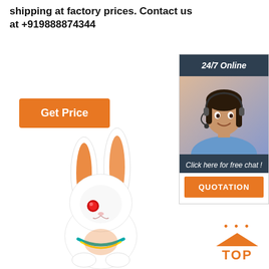shipping at factory prices. Contact us at +919888874344
[Figure (other): Orange 'Get Price' button]
[Figure (other): 24/7 Online chat widget with customer service representative photo, 'Click here for free chat!' text, and orange QUOTATION button]
[Figure (photo): White enamel rabbit figurine with orange-lined ears, red gem eye, and colorful decorative details]
[Figure (other): Orange 'TOP' button with dot triangle arrow pointing up]